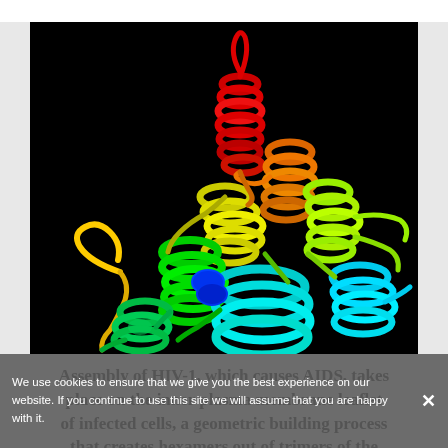[Figure (illustration): 3D ribbon diagram of an HIV-1 protein structure shown on a black background. The ribbon structure is colored in a rainbow spectrum from blue/cyan at the bottom through green, yellow, orange, and red at the top, representing the protein chain from N-terminus to C-terminus. The structure shows multiple alpha helices arranged in a complex tertiary structure.]
We use cookies to ensure that we give you the best experience on our website. If you continue to use this site we will assume that you are happy with it.
Assembly of HIV-1, which causes AIDS, takes place on the inner plasma membrane leaflet of infected cells, a geometric building process that creates hexamers out of trimers of the